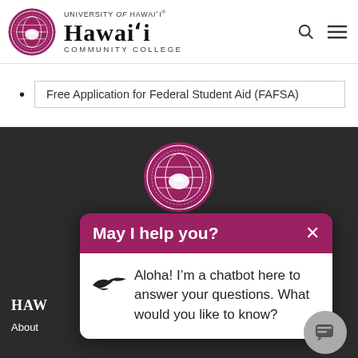[Figure (logo): University of Hawaii seal/logo circle in crimson and white]
University of Hawai'i – Hawai'i Community College
Free Application for Federal Student Aid (FAFSA)
[Figure (logo): University of Hawaii seal centered in dark footer area]
May I help you?
Aloha! I'm a chatbot here to answer your questions. What would you like to know?
HAWAI'I
About